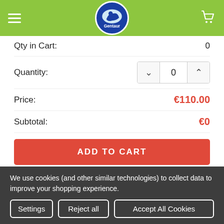[Figure (logo): Gentaur website header with green background, hamburger menu, Gentaur logo (circular blue badge with animal), and cart icon]
Qty in Cart: 0
Quantity: 0
Price: €110.00
Subtotal: €0
ADD TO CART
Polyvinylpolypyrrolidone (PVPP)| PCT1003
HiMedia Laboratories
We use cookies (and other similar technologies) to collect data to improve your shopping experience.
Settings
Reject all
Accept All Cookies